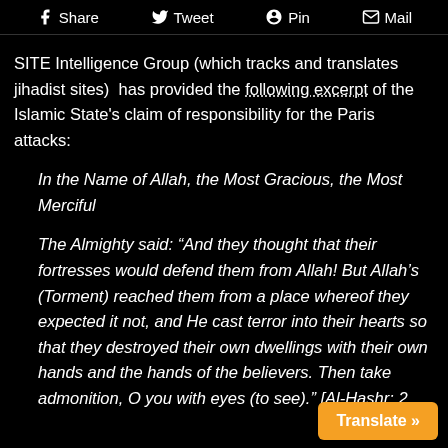Share  Tweet  Pin  Mail
SITE Intelligence Group (which tracks and translates jihadist sites)  has provided the following excerpt of the Islamic State's claim of responsibility for the Paris attacks:
In the Name of Allah, the Most Gracious, the Most Merciful
The Almighty said: “And they thought that their fortresses would defend them from Allah! But Allah’s (Torment) reached them from a place whereof they expected it not, and He cast terror into their hearts so that they destroyed their own dwellings with their own hands and the hands of the believers. Then take admonition, O you with eyes (to see).” [Al-Hashr: 2